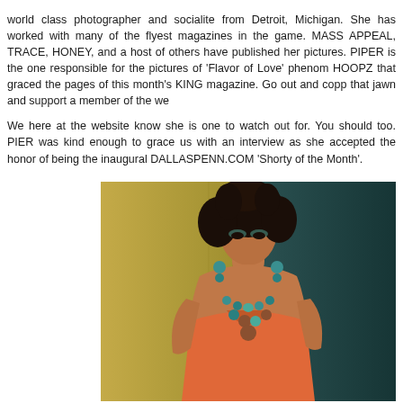world class photographer and socialite from Detroit, Michigan. She has worked with many of the flyest magazines in the game. MASS APPEAL, TRACE, HONEY, and a host of others have published her pictures. PIPER is the one responsible for the pictures of 'Flavor of Love' phenom HOOPZ that graced the pages of this month's KING magazine. Go out and copp that jawn and support a member of the we...
We here at the website know she is one to watch out for. You should too. PIPER was kind enough to grace us with an interview as she accepted the honor of being the inaugural DALLASPENN.COM 'Shorty of the Month'.
[Figure (photo): Portrait photo of a woman wearing an orange/coral sleeveless top and a large turquoise and brown beaded necklace with matching earrings. She has natural curly hair and teal/green eye makeup. She is leaning against a yellow/olive colored wall or locker with a dark teal background.]